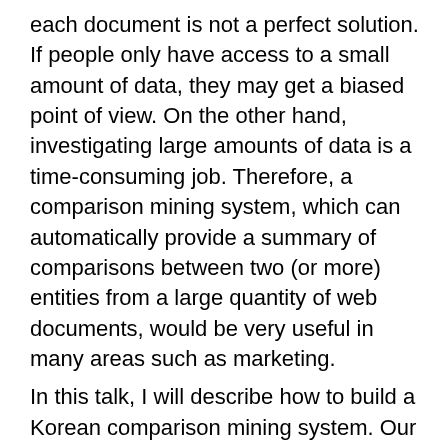each document is not a perfect solution. If people only have access to a small amount of data, they may get a biased point of view. On the other hand, investigating large amounts of data is a time-consuming job. Therefore, a comparison mining system, which can automatically provide a summary of comparisons between two (or more) entities from a large quantity of web documents, would be very useful in many areas such as marketing.
In this talk, I will describe how to build a Korean comparison mining system. Our work is composed of two consecutive tasks: 1) classifying comparative sentences into different types, and 2) mining comparative entities and predicates. We performed various experiments to find relevant features and learning techniques. As a result, we achieved outstanding performance enough for practical use.
Bio: Youngjoong Ko is an associate professor of Computer